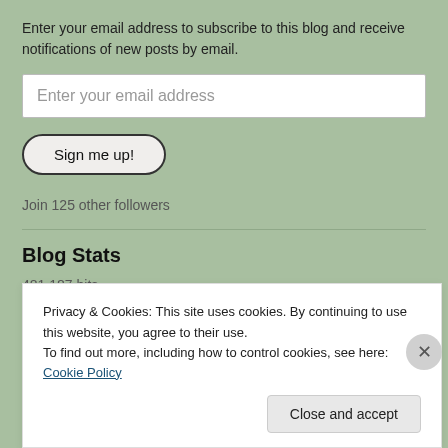Enter your email address to subscribe to this blog and receive notifications of new posts by email.
Enter your email address
Sign me up!
Join 125 other followers
Blog Stats
481,187 hits
Privacy & Cookies: This site uses cookies. By continuing to use this website, you agree to their use.
To find out more, including how to control cookies, see here: Cookie Policy
Close and accept